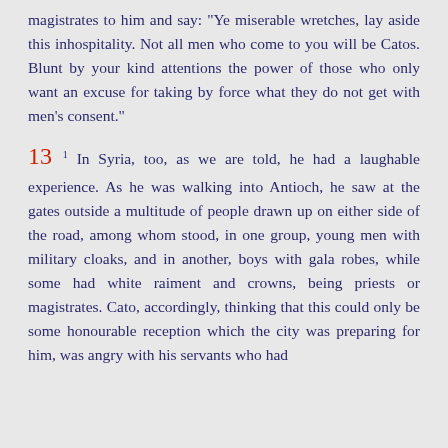magistrates to him and say: "Ye miserable wretches, lay aside this inhospitality. Not all men who come to you will be Catos. Blunt by your kind attentions the power of those who only want an excuse for taking by force what they do not get with men's consent."
13 1 In Syria, too, as we are told, he had a laughable experience. As he was walking into Antioch, he saw at the gates outside a multitude of people drawn up on either side of the road, among whom stood, in one group, young men with military cloaks, and in another, boys with gala robes, while some had white raiment and crowns, being priests or magistrates. Cato, accordingly, thinking that this could only be some honourable reception which the city was preparing for him, was angry with his servants who had